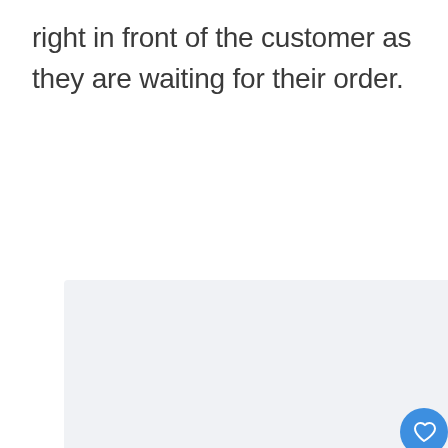right in front of the customer as they are waiting for their order.
[Figure (screenshot): A light gray content area occupying most of the page, with a blue heart/like button, a count bubble showing '1', a share button, and a 'WHAT'S NEXT' navigation bar at the bottom right showing 'Doordash Earnings No...']